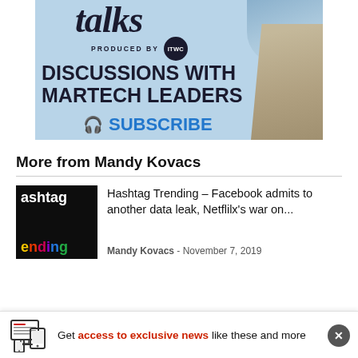[Figure (illustration): Advertisement banner for a podcast/media product produced by ITWC. Light blue background. Text says 'talks' in italic script at top, 'PRODUCED BY ITWC' with ITWC in a black circle badge, 'DISCUSSIONS WITH MARTECH LEADERS' in bold black uppercase, and '🎧 SUBSCRIBE' in bold blue. Right side shows a hand holding puzzle pieces.]
More from Mandy Kovacs
[Figure (photo): Thumbnail for Hashtag Trending article. Black background with white bold text 'hashtag' and colorful letters spelling 'ending' in yellow, red, purple, blue, green.]
Hashtag Trending – Facebook admits to another data leak, Netflilx's war on...
Mandy Kovacs - November 7, 2019
Get access to exclusive news like these and more